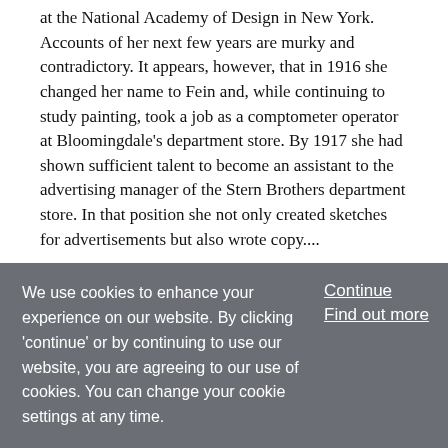at the National Academy of Design in New York. Accounts of her next few years are murky and contradictory. It appears, however, that in 1916 she changed her name to Fein and, while continuing to study painting, took a job as a comptometer operator at Bloomingdale's department store. By 1917 she had shown sufficient talent to become an assistant to the advertising manager of the Stern Brothers department store. In that position she not only created sketches for advertisements but also wrote copy....
Article
Janis, Sidney (1896-1989), art dealer and collector.
We use cookies to enhance your experience on our website. By clicking 'continue' or by continuing to use our website, you are agreeing to our use of cookies. You can change your cookie settings at any time.